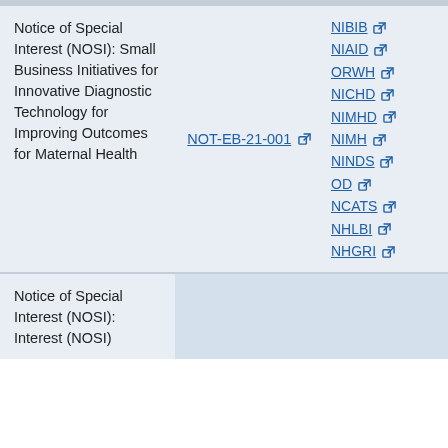| Notice Title | Notice Number | Organizations |
| --- | --- | --- |
| Notice of Special Interest (NOSI): Small Business Initiatives for Innovative Diagnostic Technology for Improving Outcomes for Maternal Health | NOT-EB-21-001 | NIBIB NIAID ORWH NICHD NIMHD NIMH NINDS OD NCATS NHLBI NHGRI |
| Notice of Special Interest (NOSI): |  |  |